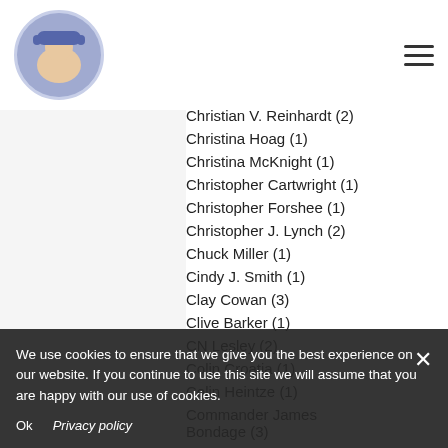Blog logo and navigation menu
Christian V. Reinhardt  (2)
Christina Hoag  (1)
Christina McKnight  (1)
Christopher Cartwright  (1)
Christopher Forshee  (1)
Christopher J. Lynch  (2)
Chuck Miller  (1)
Cindy J. Smith  (1)
Clay Cowan  (3)
Clive Barker  (1)
CN Lesley  (2)
Colin Croatia  (1)
Colin Heintze  (1)
Commander James Bondage  (3)
Craig A. Hart  (2)
Craig N. Hooper  (1)
D C Stansfield  (1)
D. B. Goodin  (2)
D. Daunbinee  (1)
We use cookies to ensure that we give you the best experience on our website. If you continue to use this site we will assume that you are happy with our use of cookies.